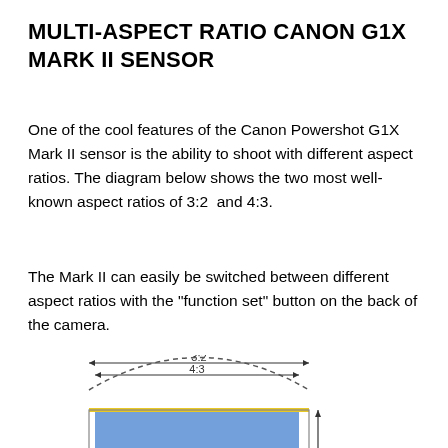MULTI-ASPECT RATIO CANON G1X MARK II SENSOR
One of the cool features of the Canon Powershot G1X Mark II sensor is the ability to shoot with different aspect ratios. The diagram below shows the two most well-known aspect ratios of 3:2  and 4:3.
The Mark II can easily be switched between different aspect ratios with the "function set" button on the back of the camera.
[Figure (engineering-diagram): Diagram showing two aspect ratio overlays (3:2 and 4:3) on a camera sensor rectangle. A dashed arc spans from the outer 3:2 width down and curves below. The 4:3 rectangle is shown in blue with a yellow top edge. Dimension arrows label 3:2 (wider) and 4:3 (narrower) widths at the top. A vertical arrow on the right indicates height.]